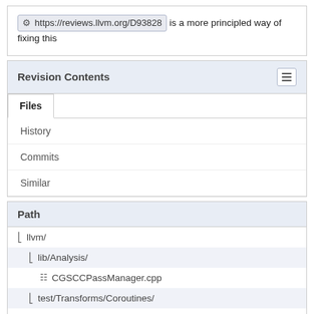https://reviews.llvm.org/D93828 is a more principled way of fixing this
Revision Contents
Files
History
Commits
Similar
Path
llvm/
lib/Analysis/
CGSCCPassManager.cpp
test/Transforms/Coroutines/
coro-retcon-resume-values2.ll
unittests/Analysis/
CGSCCPassManagerTest.cpp